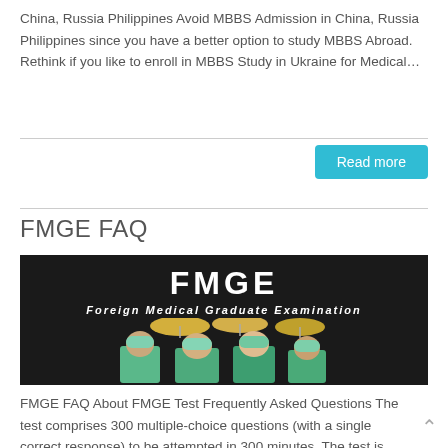China, Russia Philippines Avoid MBBS Admission in China, Russia Philippines since you have a better option to study MBBS Abroad. Rethink if you like to enroll in MBBS Study in Ukraine for Medical...
Read more
FMGE FAQ
[Figure (illustration): Black background banner with bold white text 'FMGE' and subtitle 'Foreign Medical Graduate Examination', with a photo of surgeons in green scrubs below]
FMGE FAQ About FMGE Test Frequently Asked Questions The test comprises 300 multiple-choice questions (with a single correct response) to be attempted in 300 minutes. The test is divided into